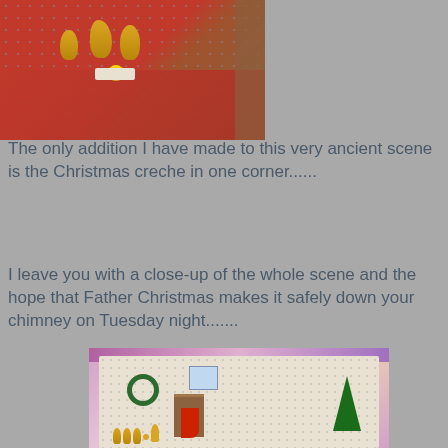[Figure (photo): Photo of nativity scene with gold figurines on a red carpet against a wallpapered wall]
The only addition I have made to this very ancient scene is the Christmas creche in one corner......
I leave you with a close-up of the whole scene and the hope that Father Christmas makes it safely down your chimney on Tuesday night.......
[Figure (photo): Close-up photo of a miniature Christmas room scene with wreath, fireplace, red stocking, Christmas tree, and nativity figures]